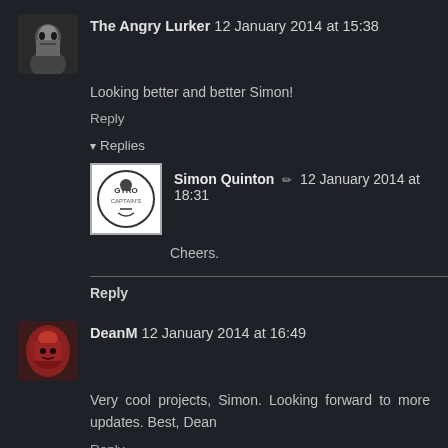[Figure (photo): Avatar of The Angry Lurker - dark face photo]
The Angry Lurker 12 January 2014 at 15:38
Looking better and better Simon!
Reply
Replies
[Figure (logo): Gyro Captain's logo - white circular emblem on white background]
Simon Quinton ✏ 12 January 2014 at 18:31
Cheers.
Reply
[Figure (photo): Avatar of DeanM - person in red samurai helmet]
DeanM 12 January 2014 at 16:49
Very cool projects, Simon. Looking forward to more updates. Best, Dean
Reply
Replies